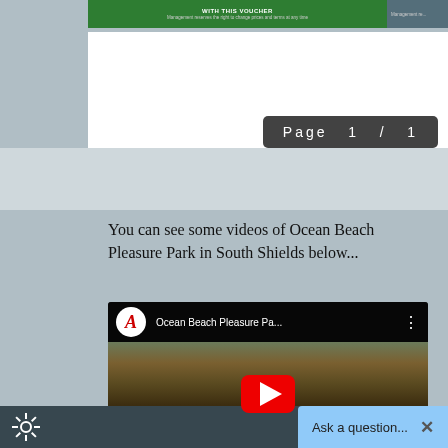[Figure (screenshot): Top portion of a webpage showing a green voucher strip reading 'WITH THIS VOUCHER' with subtitle 'Management reserves the right to change prices and terms at any time', a dark gray panel on right, white content area, and a dark page indicator showing 'Page 1 / 1']
You can see some videos of Ocean Beach Pleasure Park in South Shields below...
[Figure (screenshot): YouTube video thumbnail for 'Ocean Beach Pleasure Pa...' showing bumper cars at an amusement park with a large red YouTube play button in the center. Channel icon shows red italic letter A on white circle.]